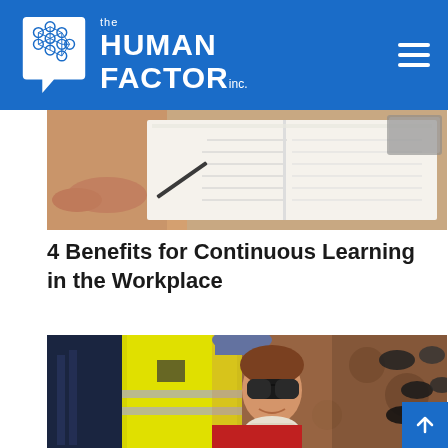[Figure (logo): The Human Factor Inc. logo — brain icon with hexagonal pattern on white speech bubble, white text on blue background, with hamburger menu icon top right]
[Figure (photo): Close-up of hands flipping through open notebook/book pages on a desk]
4 Benefits for Continuous Learning in the Workplace
[Figure (photo): Woman wearing safety sunglasses, hard hat (blue), high-visibility yellow vest, and respirator mask around neck, in front of safety equipment wall (shoes, hardhats)]